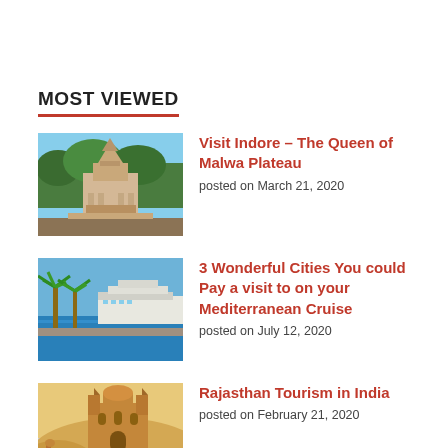MOST VIEWED
[Figure (photo): Temple/palace building with ornate towers and greenery - Indore Malwa Plateau]
Visit Indore – The Queen of Malwa Plateau
posted on March 21, 2020
[Figure (photo): Tropical harbor scene with palm trees and cruise ship - Mediterranean Cruise]
3 Wonderful Cities You could Pay a visit to on your Mediterranean Cruise
posted on July 12, 2020
[Figure (photo): Rajasthan desert scene with camels and colorful palace - Rajasthan Tourism]
Rajasthan Tourism in India
posted on February 21, 2020